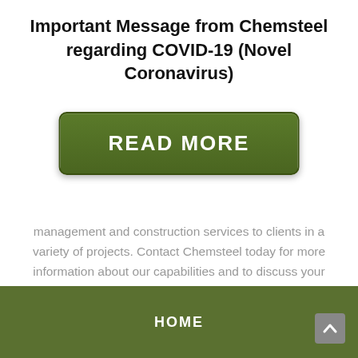Important Message from Chemsteel regarding COVID-19 (Novel Coronavirus)
[Figure (other): Green rounded button with text READ MORE]
management and construction services to clients in a variety of projects. Contact Chemsteel today for more information about our capabilities and to discuss your upcoming project with one of our experts.
[Figure (other): Right-pointing chevron arrow navigation element]
HOME